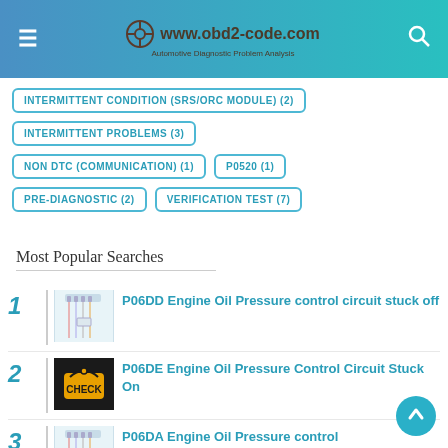www.obd2-code.com
INTERMITTENT CONDITION (SRS/ORC MODULE)  (2)
INTERMITTENT PROBLEMS  (3)
NON DTC (COMMUNICATION)  (1)
P0520  (1)
PRE-DIAGNOSTIC  (2)
VERIFICATION TEST  (7)
Most Popular Searches
P06DD Engine Oil Pressure control circuit stuck off
P06DE Engine Oil Pressure Control Circuit Stuck On
P06DA Engine Oil Pressure control